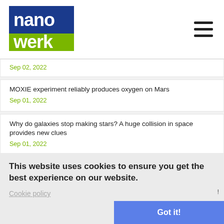nanowerk
Sep 02, 2022
MOXIE experiment reliably produces oxygen on Mars
Sep 01, 2022
Why do galaxies stop making stars? A huge collision in space provides new clues
Sep 01, 2022
This website uses cookies to ensure you get the best experience on our website.
Cookie policy
Got it!
Aug 24, 2022